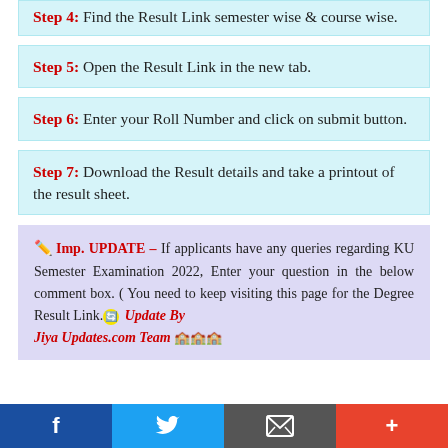Step 4: Find the Result Link semester wise & course wise.
Step 5: Open the Result Link in the new tab.
Step 6: Enter your Roll Number and click on submit button.
Step 7: Download the Result details and take a printout of the result sheet.
📝 Imp. UPDATE – If applicants have any queries regarding KU Semester Examination 2022, Enter your question in the below comment box. ( You need to keep visiting this page for the Degree Result Link.🔄 Update By Jiya Updates.com Team 🏫🏫🏫